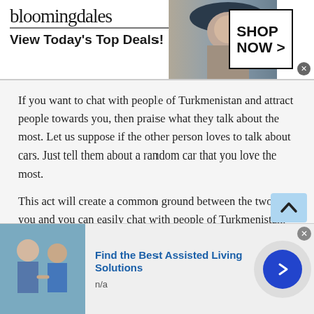[Figure (screenshot): Bloomingdales advertisement banner: logo, 'View Today's Top Deals!', model with hat, 'SHOP NOW >' button]
If you want to chat with people of Turkmenistan and attract people towards you, then praise what they talk about the most. Let us suppose if the other person loves to talk about cars. Just tell them about a random car that you love the most.
This act will create a common ground between the two of you and you can easily chat with people of Turkmenistan. There are not many people that love to talk about what you love. So, by simply praising
[Figure (screenshot): Bottom advertisement: 'Find the Best Assisted Living Solutions', n/a, with image of elderly person and caregiver, navigation arrow button]